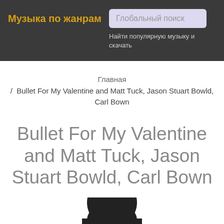Музыка по жанрам
Глобальный поиск
Найти популярную музыку и скачать
Главная
/ Bullet For My Valentine and Matt Tuck, Jason Stuart Bowld, Carl Bown
Bullet For My Valentine and Matt Tuck, Jason Stuart Bowld, Carl Bown
[Figure (illustration): A rounded dark icon shape with a yellow arc at the bottom, resembling a music or artist avatar placeholder.]